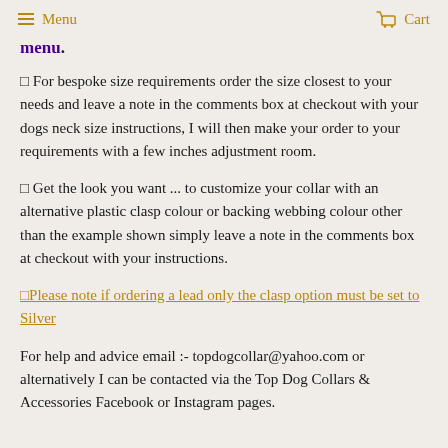Menu   Cart
menu.
🔲 For bespoke size requirements order the size closest to your needs and leave a note in the comments box at checkout with your dogs neck size instructions, I will then make your order to your requirements with a few inches adjustment room.
🔲 Get the look you want ... to customize your collar with an alternative plastic clasp colour or backing webbing colour other than the example shown simply leave a note in the comments box at checkout with your instructions.
🔲Please note if ordering a lead only the clasp option must be set to Silver
For help and advice email :- topdogcollar@yahoo.com or alternatively I can be contacted via the Top Dog Collars & Accessories Facebook or Instagram pages.